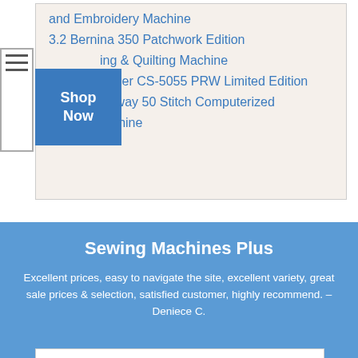and Embroidery Machine
3.2 Bernina 350 Patchwork Edition
ing & Quilting Machine
[Figure (other): Shop Now button in blue]
rother CS-5055 PRW Limited Edition Project Runway 50 Stitch Computerized Sewing Machine
Sewing Machines Plus
Excellent prices, easy to navigate the site, excellent variety, great sale prices & selection, satisfied customer, highly recommend. – Deniece C.